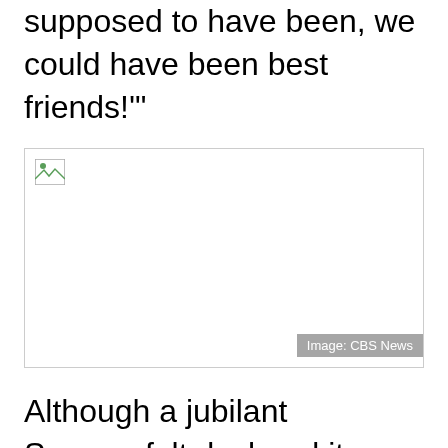supposed to have been, we could have been best friends!'"
[Figure (photo): A photo placeholder with broken image icon and 'Image: CBS News' credit in bottom right corner.]
Image: CBS News
Although a jubilant Sommerfelt declared it a “world record” at the time, no-one can